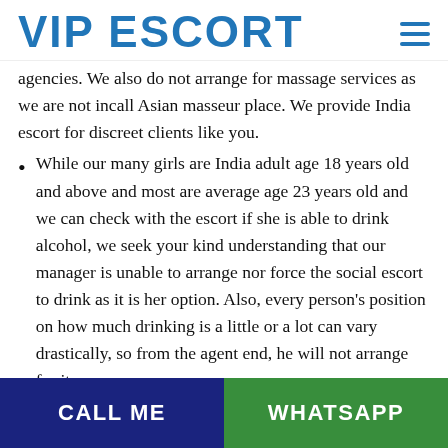VIP ESCORT
agencies. We also do not arrange for massage services as we are not incall Asian masseur place. We provide India escort for discreet clients like you.
While our many girls are India adult age 18 years old and above and most are average age 23 years old and we can check with the escort if she is able to drink alcohol, we seek your kind understanding that our manager is unable to arrange nor force the social escort to drink as it is her option. Also, every person's position on how much drinking is a little or a lot can vary drastically, so from the agent end, he will not arrange for it.
CALL ME   WHATSAPP